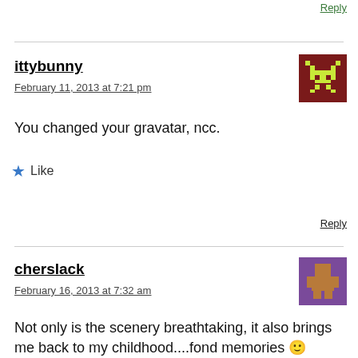Reply
ittybunny
February 11, 2013 at 7:21 pm
You changed your gravatar, ncc.
Like
Reply
cherslack
February 16, 2013 at 7:32 am
Not only is the scenery breathtaking, it also brings me back to my childhood....fond memories 🙂